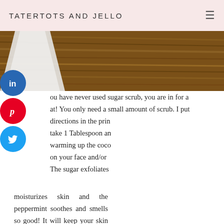TATERTOTS AND JELLO
[Figure (photo): Photo of a white tube/container on a wooden surface with wood grain texture, partially visible]
[Figure (other): Social media share buttons: LinkedIn (blue), Pinterest (red), Twitter (blue)]
ou have never used sugar scrub, you are in for a at! You only need a small amount of scrub. I put directions in the prin take 1 Tablespoon an warming up the coco on your face and/or The sugar exfoliates moisturizes skin and the peppermint soothes and smells so good! It will keep your skin moisturized all
[Figure (screenshot): Black ad overlay showing 'Loading ad' text with spinning loader and media controls (pause, fullscreen, mute buttons), and an X close button]